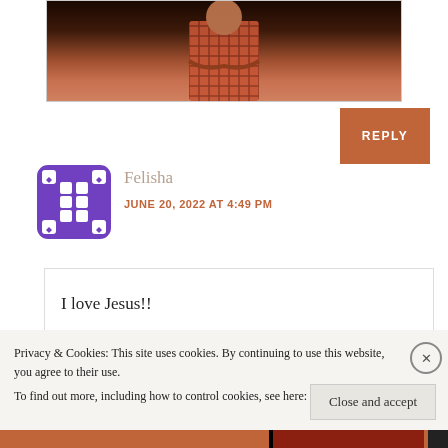[Figure (photo): Partial view of a person in a plaid/checkered shirt against a dark background, cropped at the top of the page]
REPLY
[Figure (illustration): Purple film reel or decorative grid avatar icon for user Felisha]
Felisha
JUNE 20, 2022 AT 4:49 PM
I love Jesus!!
Privacy & Cookies: This site uses cookies. By continuing to use this website, you agree to their use.
To find out more, including how to control cookies, see here: Cookie Policy
Close and accept